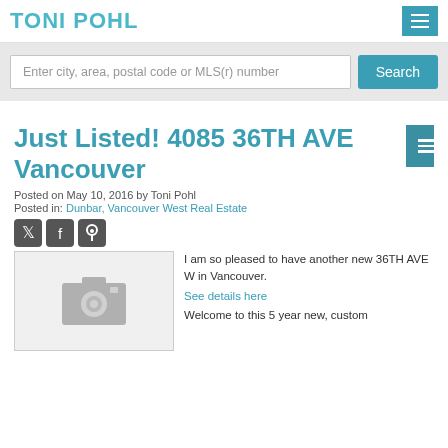TONI POHL
Enter city, area, postal code or MLS(r) number
Just Listed! 4085 36TH AVE Vancouver
Posted on May 10, 2016 by Toni Pohl
Posted in: Dunbar, Vancouver West Real Estate
[Figure (photo): Camera placeholder image]
I am so pleased to have another new 36TH AVE W in Vancouver.
See details here
Welcome to this 5 year new, custom